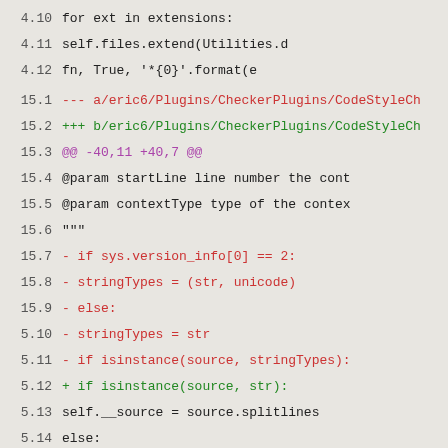4.10    for ext in extensions:
4.11        self.files.extend(Utilities.d
4.12            fn, True, '*{0}'.format(e
15.1 --- a/eric6/Plugins/CheckerPlugins/CodeStyleCh
15.2 +++ b/eric6/Plugins/CheckerPlugins/CodeStyleCh
15.3 @@ -40,11 +40,7 @@
15.4     @param startLine line number the cont
15.5     @param contextType type of the contex
15.6     """
15.7 -   if sys.version_info[0] == 2:
15.8 -       stringTypes = (str, unicode)
15.9 -   else:
5.10 -       stringTypes = str
5.11 -   if isinstance(source, stringTypes):
5.12 +   if isinstance(source, str):
5.13         self.__source = source.splitlines
5.14     else:
5.15         self.__source = source[:]
5.16 @@ -360,12 +356,6 @@
5.17         return